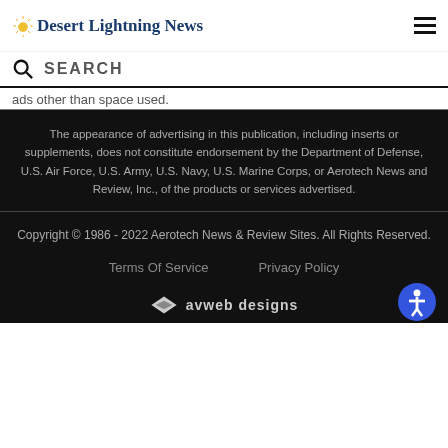Desert Lightning News
SEARCH
ads other than space used.
The appearance of advertising in this publication, including inserts or supplements, does not constitute endorsement by the Department of Defense, U.S. Air Force, U.S. Army, U.S. Navy, U.S. Marine Corps, or Aerotech News and Review, Inc., of the products or services advertised.
Copyright © 1986 - 2022 Aerotech News & Review Sites. All Rights Reserved.
Terms Of Service   Privacy Policy
avweb designs